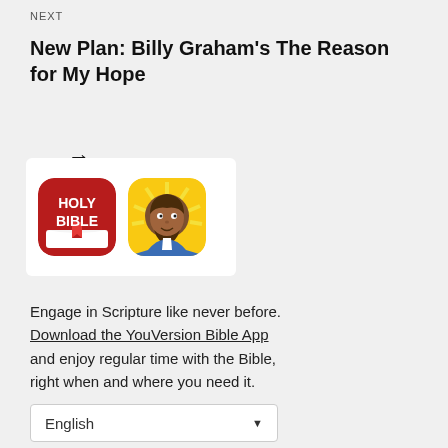NEXT
New Plan: Billy Graham's The Reason for My Hope →
[Figure (illustration): Two app icons side by side: the YouVersion Holy Bible app (red rounded square with white 'HOLY BIBLE' text and a book icon) and a Kids Bible app (yellow rounded square with a cartoon Jesus character)]
Engage in Scripture like never before. Download the YouVersion Bible App and enjoy regular time with the Bible, right when and where you need it.
English ▼